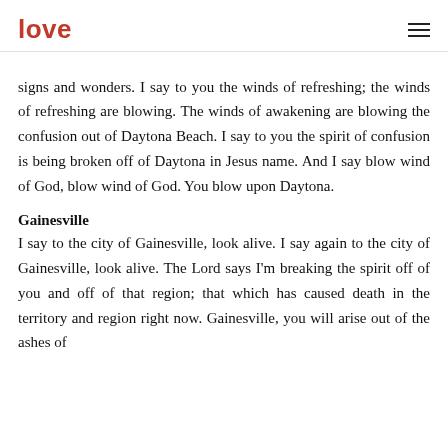love
signs and wonders. I say to you the winds of refreshing; the winds of refreshing are blowing. The winds of awakening are blowing the confusion out of Daytona Beach. I say to you the spirit of confusion is being broken off of Daytona in Jesus name. And I say blow wind of God, blow wind of God. You blow upon Daytona.
Gainesville
I say to the city of Gainesville, look alive. I say again to the city of Gainesville, look alive. The Lord says I'm breaking the spirit off of you and off of that region; that which has caused death in the territory and region right now. Gainesville, you will arise out of the ashes of